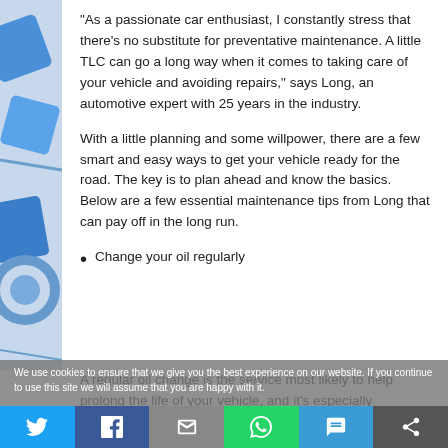[Figure (illustration): Decorative blue illustration with car-related shapes on the left side of the page]
“As a passionate car enthusiast, I constantly stress that there’s no substitute for preventative maintenance. A little TLC can go a long way when it comes to taking care of your vehicle and avoiding repairs,” says Long, an automotive expert with 25 years in the industry.
With a little planning and some willpower, there are a few smart and easy ways to get your vehicle ready for the road. The key is to plan ahead and know the basics. Below are a few essential maintenance tips from Long that can pay off in the long run.
Change your oil regularly
We use cookies to ensure that we give you the best experience on our website. If you continue to use this site we will assume that you are happy with it.
A regular oil change is the service most likely to help prolong the life of your vehicle, and it’s especially
[Figure (infographic): Social media share bar with Twitter, Facebook, Email, WhatsApp, SMS, and share icons]